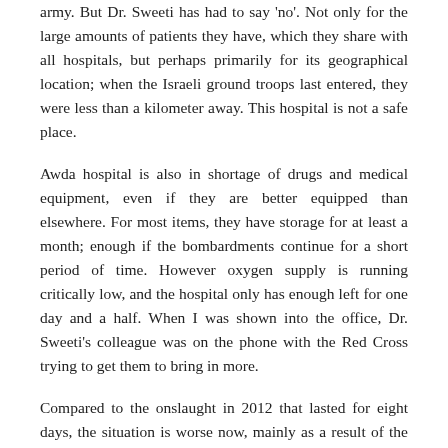army. But Dr. Sweeti has had to say 'no'. Not only for the large amounts of patients they have, which they share with all hospitals, but perhaps primarily for its geographical location; when the Israeli ground troops last entered, they were less than a kilometer away. This hospital is not a safe place.
Awda hospital is also in shortage of drugs and medical equipment, even if they are better equipped than elsewhere. For most items, they have storage for at least a month; enough if the bombardments continue for a short period of time. However oxygen supply is running critically low, and the hospital only has enough left for one day and a half. When I was shown into the office, Dr. Sweeti's colleague was on the phone with the Red Cross trying to get them to bring in more.
Compared to the onslaught in 2012 that lasted for eight days, the situation is worse now, mainly as a result of the blockade. The supply of medicine and equipment was small to begin with, and diesel for the generators is much more expensive due to the collapsed tunnels to Egypt. A very large portion of